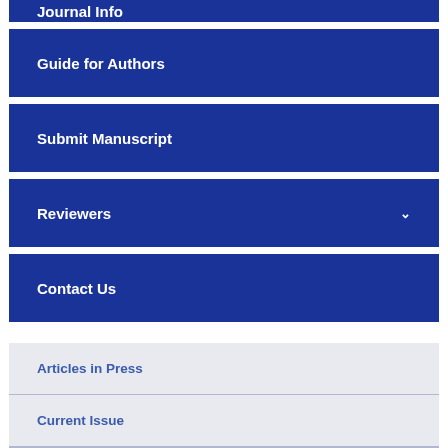Journal Info
Guide for Authors
Submit Manuscript
Reviewers
Contact Us
Articles in Press
Current Issue
Volume 24 (2022)